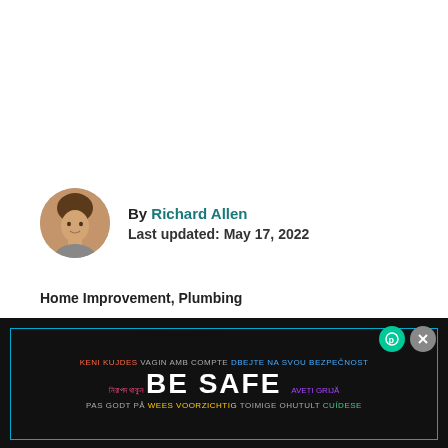By Richard Allen
Last updated: May 17, 2022
Home Improvement, Plumbing
Tags
Info
WHAT'S NEXT → No P-trap In Shower: 4...
[Figure (infographic): Safety advertisement banner with multilingual 'BE SAFE' text on dark background with cyan border]
[Figure (photo): Close-up headshot of a young man, circular avatar]